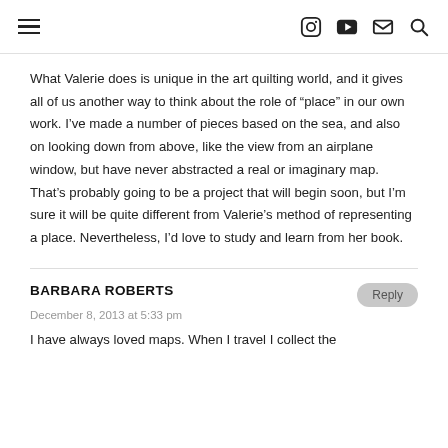[Navigation header with hamburger menu and icons: Instagram, YouTube, Email, Search]
What Valerie does is unique in the art quilting world, and it gives all of us another way to think about the role of “place” in our own work. I’ve made a number of pieces based on the sea, and also on looking down from above, like the view from an airplane window, but have never abstracted a real or imaginary map. That’s probably going to be a project that will begin soon, but I’m sure it will be quite different from Valerie’s method of representing a place. Nevertheless, I’d love to study and learn from her book.
BARBARA ROBERTS
December 8, 2013 at 5:33 pm
I have always loved maps. When I travel I collect the